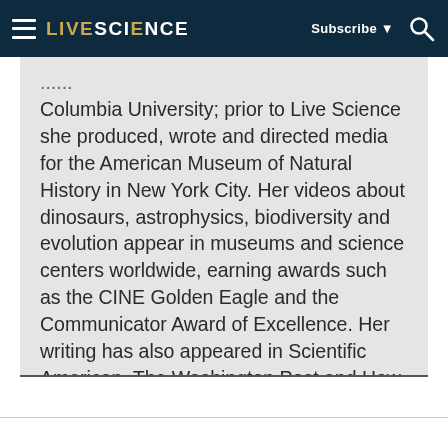LIVESCIENCE  Subscribe ▼  🔍
Columbia University; prior to Live Science she produced, wrote and directed media for the American Museum of Natural History in New York City. Her videos about dinosaurs, astrophysics, biodiversity and evolution appear in museums and science centers worldwide, earning awards such as the CINE Golden Eagle and the Communicator Award of Excellence. Her writing has also appeared in Scientific American, The Washington Post and How It Works Magazine.